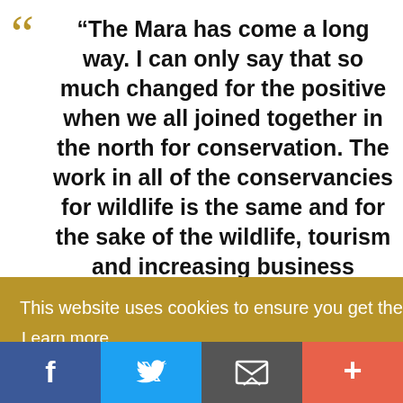“The Mara has come a long way. I can only say that so much changed for the positive when we all joined together in the north for conservation. The work in all of the conservancies for wildlife is the same and for the sake of the wildlife, tourism and increasing business investment let us join together to protect the Mara for the future generations of
This website uses cookies to ensure you get the best experience on our website. Learn more
Got it!
Facebook Twitter Email +